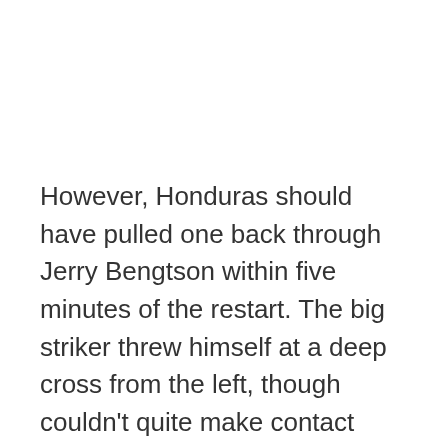However, Honduras should have pulled one back through Jerry Bengtson within five minutes of the restart. The big striker threw himself at a deep cross from the left, though couldn't quite make contact from close-range. They went even closer in the 52nd minute when Bengtson was again threaded through on goal and rounded the goalkeeper, only for Swiss left-back Ricardo Rodríguez to get back and clear the ball off the line.
Switzerland withstood the early Honduran pressure